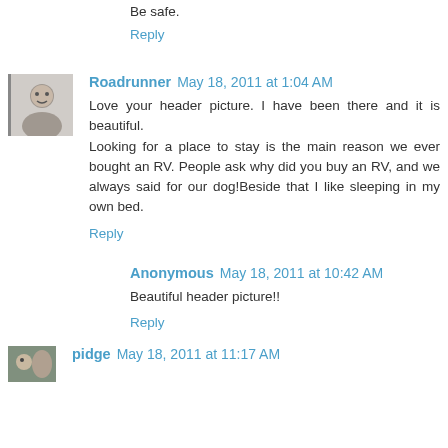Be safe.
Reply
Roadrunner May 18, 2011 at 1:04 AM
Love your header picture. I have been there and it is beautiful.
Looking for a place to stay is the main reason we ever bought an RV. People ask why did you buy an RV, and we always said for our dog!Beside that I like sleeping in my own bed.
Reply
Anonymous May 18, 2011 at 10:42 AM
Beautiful header picture!!
Reply
pidge May 18, 2011 at 11:17 AM